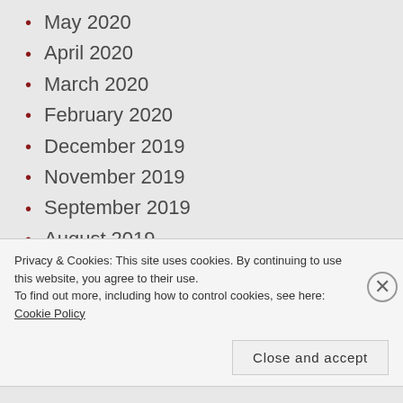May 2020
April 2020
March 2020
February 2020
December 2019
November 2019
September 2019
August 2019
July 2019
June 2019
May 2019
Privacy & Cookies: This site uses cookies. By continuing to use this website, you agree to their use.
To find out more, including how to control cookies, see here: Cookie Policy
Close and accept